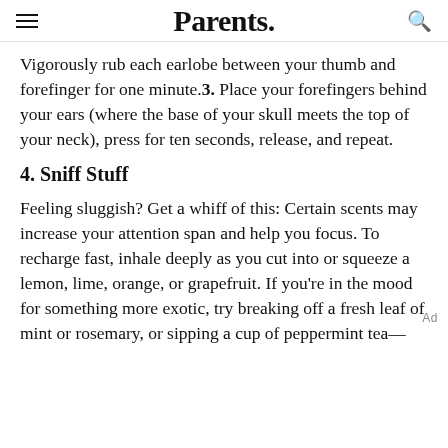Parents.
Vigorously rub each earlobe between your thumb and forefinger for one minute. 3. Place your forefingers behind your ears (where the base of your skull meets the top of your neck), press for ten seconds, release, and repeat.
4. Sniff Stuff
Feeling sluggish? Get a whiff of this: Certain scents may increase your attention span and help you focus. To recharge fast, inhale deeply as you cut into or squeeze a lemon, lime, orange, or grapefruit. If you're in the mood for something more exotic, try breaking off a fresh leaf of mint or rosemary, or sipping a cup of peppermint tea—